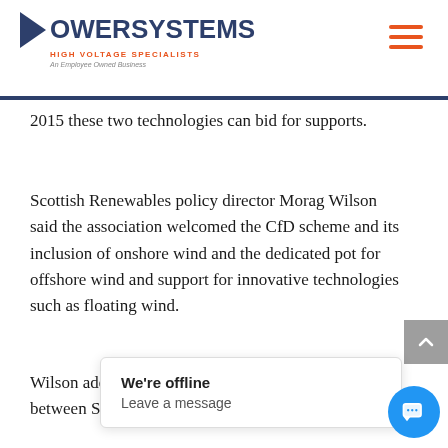POWERSYSTEMS | HIGH VOLTAGE SPECIALISTS | An Employee Owned Business
2015 these two technologies can bid for supports.
Scottish Renewables policy director Morag Wilson said the association welcomed the CfD scheme and its inclusion of onshore wind and the dedicated pot for offshore wind and support for innovative technologies such as floating wind.
Wilson adde... between Sc...